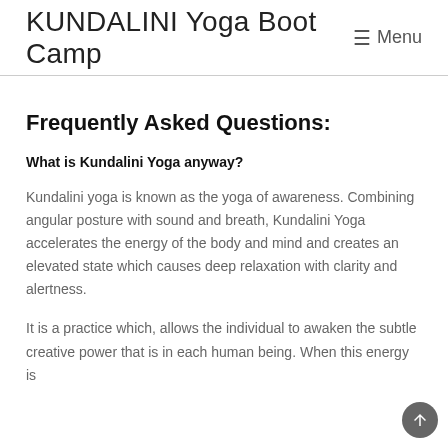KUNDALINI Yoga Boot Camp  ≡ Menu
Frequently Asked Questions:
What is Kundalini Yoga anyway?
Kundalini yoga is known as the yoga of awareness. Combining angular posture with sound and breath, Kundalini Yoga accelerates the energy of the body and mind and creates an elevated state which causes deep relaxation with clarity and alertness.
It is a practice which, allows the individual to awaken the subtle creative power that is in each human being. When this energy is